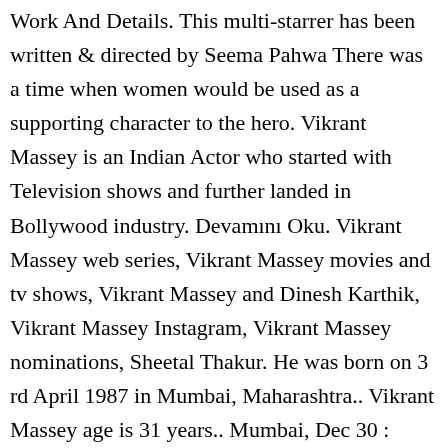Work And Details. This multi-starrer has been written & directed by Seema Pahwa There was a time when women would be used as a supporting character to the hero. Vikrant Massey is an Indian Actor who started with Television shows and further landed in Bollywood industry. Devamını Oku. Vikrant Massey web series, Vikrant Massey movies and tv shows, Vikrant Massey and Dinesh Karthik, Vikrant Massey Instagram, Vikrant Massey nominations, Sheetal Thakur. He was born on 3 rd April 1987 in Mumbai, Maharashtra.. Vikrant Massey age is 31 years.. Mumbai, Dec 30 :